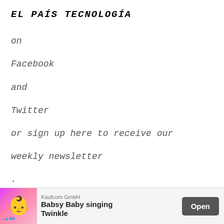EL PAÍS TECNOLOGÍA
on
Facebook
and
Twitter
or sign up here to receive our
weekly newsletter
.
Source: elparis
All tech articles on 2022-05-18
Close X
[Figure (other): Advertisement banner for Kaufcom GmbH - Babsy Baby singing Twinkle app with Open button]